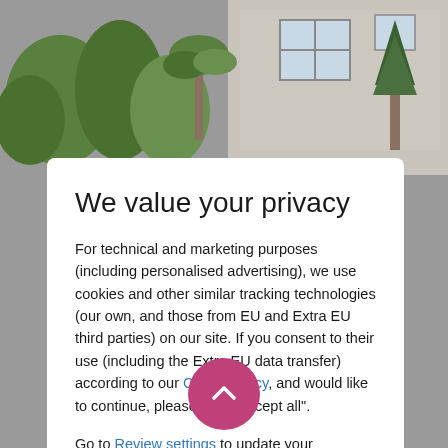[Figure (photo): Background screenshot of a real estate website showing a house exterior with garden and trees, with a grey overlay]
We value your privacy
For technical and marketing purposes (including personalised advertising), we use cookies and other similar tracking technologies (our own, and those from EU and Extra EU third parties) on our site. If you consent to their use (including the Extra EU data transfer) according to our Cookie policy, and would like to continue, please click "Accept all".
Go to Review settings to update your preferences, including in regard to the data transfer in Extra-EU countries, or click here to continue without non mandatory cookies.
ACCEPT ALL